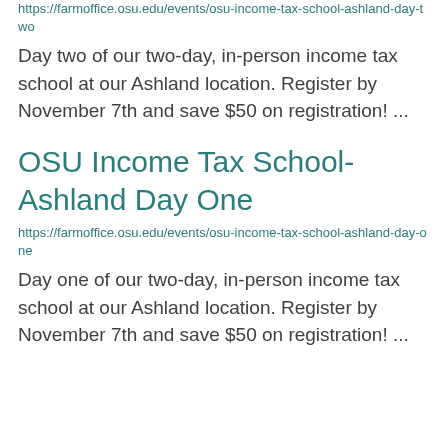https://farmoffice.osu.edu/events/osu-income-tax-school-ashland-day-two
Day two of our two-day, in-person income tax school at our Ashland location. Register by November 7th and save $50 on registration! ...
OSU Income Tax School- Ashland Day One
https://farmoffice.osu.edu/events/osu-income-tax-school-ashland-day-one
Day one of our two-day, in-person income tax school at our Ashland location. Register by November 7th and save $50 on registration!  ...